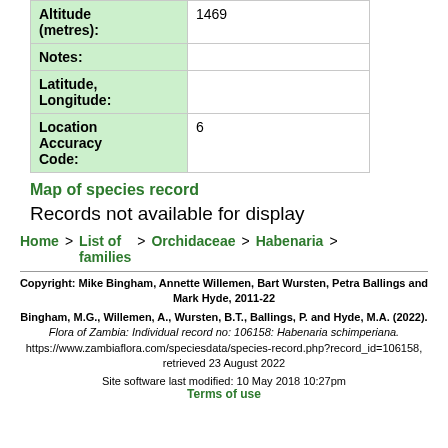| Field | Value |
| --- | --- |
| Altitude (metres): | 1469 |
| Notes: |  |
| Latitude, Longitude: |  |
| Location Accuracy Code: | 6 |
Map of species record
Records not available for display
Home > List of families > Orchidaceae > Habenaria >
Copyright: Mike Bingham, Annette Willemen, Bart Wursten, Petra Ballings and Mark Hyde, 2011-22
Bingham, M.G., Willemen, A., Wursten, B.T., Ballings, P. and Hyde, M.A. (2022). Flora of Zambia: Individual record no: 106158: Habenaria schimperiana. https://www.zambiaflora.com/speciesdata/species-record.php?record_id=106158, retrieved 23 August 2022
Site software last modified: 10 May 2018 10:27pm
Terms of use